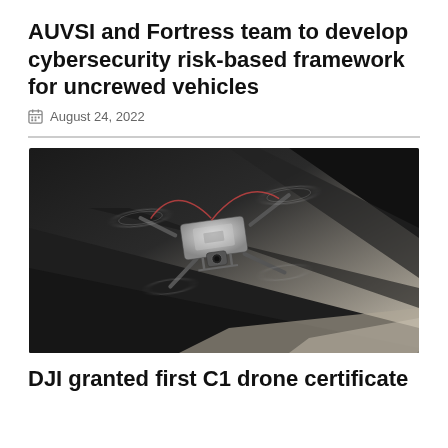AUVSI and Fortress team to develop cybersecurity risk-based framework for uncrewed vehicles
August 24, 2022
[Figure (photo): Drone (quadcopter) flying indoors near a dark surface, motion blur on rotors, shot from below/side angle]
DJI granted first C1 drone certificate